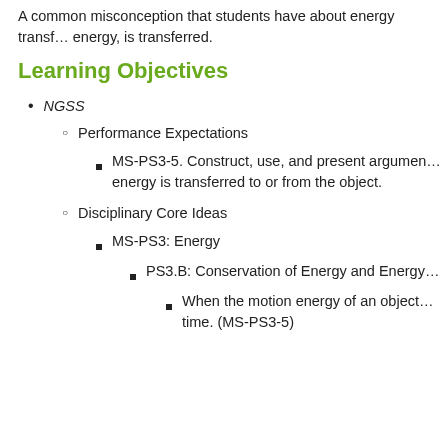A common misconception that students have about energy transfer is that heat, not energy, is transferred.
Learning Objectives
NGSS
Performance Expectations
MS-PS3-5. Construct, use, and present arguments to support the claim that when the kinetic energy of an object changes, energy is transferred to or from the object.
Disciplinary Core Ideas
MS-PS3: Energy
PS3.B: Conservation of Energy and Energy Transfer
When the motion energy of an object changes, there is inevitably some other change in energy at the same time. (MS-PS3-5)